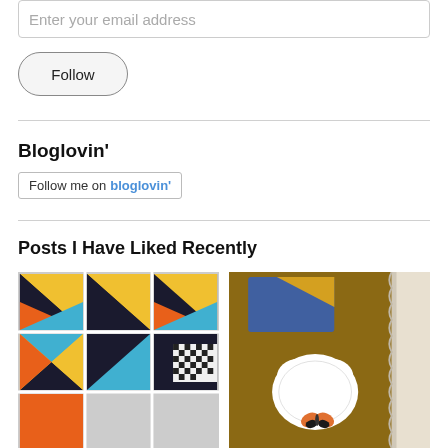Enter your email address
Follow
Bloglovin'
Follow me on bloglovin'
Posts I Have Liked Recently
[Figure (photo): Colorful quilt blocks with triangular geometric patterns in yellow, black, orange, blue, and red/orange colors arranged in a grid]
[Figure (photo): Craft project showing a fabric book or journal with lace trim, blue fabric, white heart doily, and small butterfly embellishment on brown background]